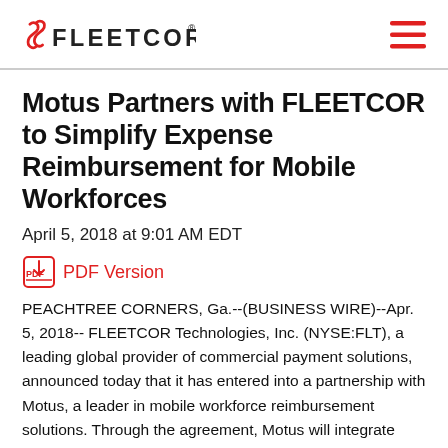FLEETCOR
Motus Partners with FLEETCOR to Simplify Expense Reimbursement for Mobile Workforces
April 5, 2018 at 9:01 AM EDT
PDF Version
PEACHTREE CORNERS, Ga.--(BUSINESS WIRE)--Apr. 5, 2018-- FLEETCOR Technologies, Inc. (NYSE:FLT), a leading global provider of commercial payment solutions, announced today that it has entered into a partnership with Motus, a leader in mobile workforce reimbursement solutions. Through the agreement, Motus will integrate FLEETCOR’s fuel card solution with its cloud-based enterprise reimbursement platform.
Motus serves companies with mobile workers, including those who use their personal vehicles for their reimbursement needs.